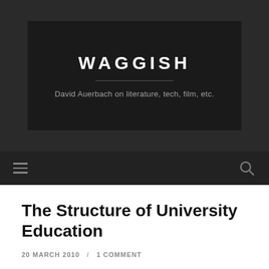WAGGISH
David Auerbach on literature, tech, film, etc.
The Structure of University Education
20 MARCH 2010 / 1 COMMENT
We've gotta do it right